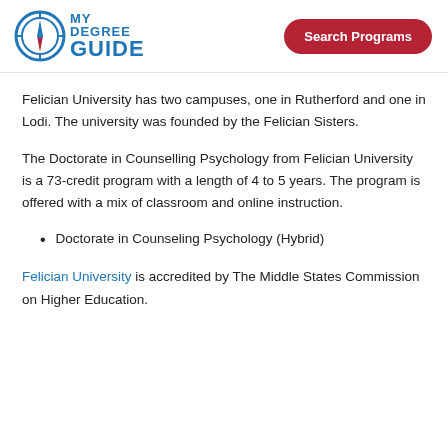MY DEGREE GUIDE | Search Programs
Felician University has two campuses, one in Rutherford and one in Lodi. The university was founded by the Felician Sisters.
The Doctorate in Counselling Psychology from Felician University is a 73-credit program with a length of 4 to 5 years. The program is offered with a mix of classroom and online instruction.
Doctorate in Counseling Psychology (Hybrid)
Felician University is accredited by The Middle States Commission on Higher Education.